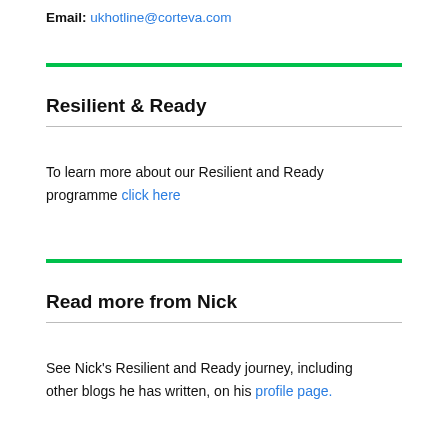Email: ukhotline@corteva.com
Resilient & Ready
To learn more about our Resilient and Ready programme click here
Read more from Nick
See Nick's Resilient and Ready journey, including other blogs he has written, on his profile page.